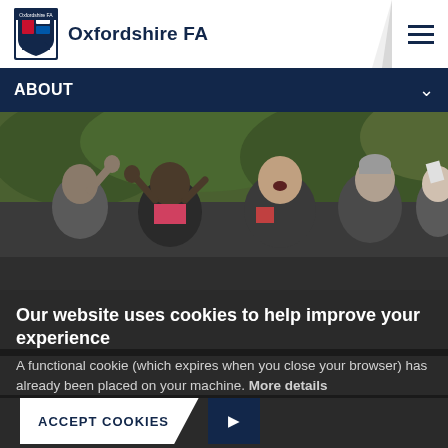Oxfordshire FA
ABOUT
[Figure (photo): Group of people, cheering and applauding, outdoors with green trees in background]
Our website uses cookies to help improve your experience
A functional cookie (which expires when you close your browser) has already been placed on your machine. More details
ACCEPT COOKIES